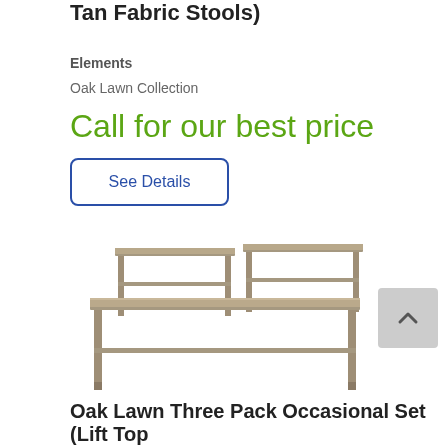Tan Fabric Stools)
Elements
Oak Lawn Collection
Call for our best price
See Details
[Figure (photo): Three-piece occasional table set in grey/brown wood finish: one larger coffee table/bench in center and two smaller end tables behind it.]
Oak Lawn Three Pack Occasional Set (Lift Top